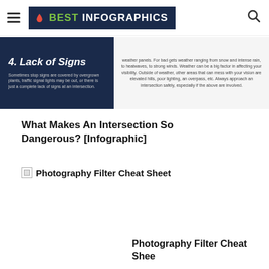BEST INFOGRAPHICS
[Figure (infographic): Infographic strip showing section 4: Lack of Signs. Left panel (dark blue): '4. Lack of Signs' with text 'Sometimes stop signs are covered by overgrown plants, traffic signal lights may be out, or there is just a complete lack of signs at an intersection.' Right panel (light grey): text about weather panels, weather ranging from snow and intense rain, to heatwaves, to strong winds. Weather can be a big factor in affecting your visibility. Outside of weather, other areas that can mess with your vision are elevated hills, poor lighting, an overpass, etc. Always approach an intersection safely, especially if the above are involved.]
What Makes An Intersection So Dangerous? [Infographic]
[Figure (other): Broken image placeholder with link text: Photography Filter Cheat Sheet]
Photography Filter Cheat Sheet